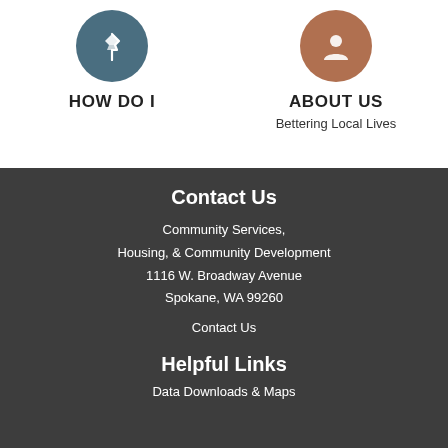[Figure (illustration): Dark teal circle icon with a pin/pushpin icon in white]
HOW DO I
[Figure (illustration): Brown circle icon with a person/user silhouette icon in white]
ABOUT US
Bettering Local Lives
Contact Us
Community Services, Housing, & Community Development
1116 W. Broadway Avenue
Spokane, WA 99260
Contact Us
Helpful Links
Data Downloads & Maps